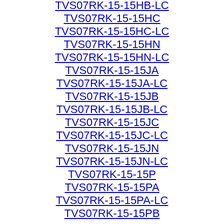TVS07RK-15-15HB-LC
TVS07RK-15-15HC
TVS07RK-15-15HC-LC
TVS07RK-15-15HN
TVS07RK-15-15HN-LC
TVS07RK-15-15JA
TVS07RK-15-15JA-LC
TVS07RK-15-15JB
TVS07RK-15-15JB-LC
TVS07RK-15-15JC
TVS07RK-15-15JC-LC
TVS07RK-15-15JN
TVS07RK-15-15JN-LC
TVS07RK-15-15P
TVS07RK-15-15PA
TVS07RK-15-15PA-LC
TVS07RK-15-15PB